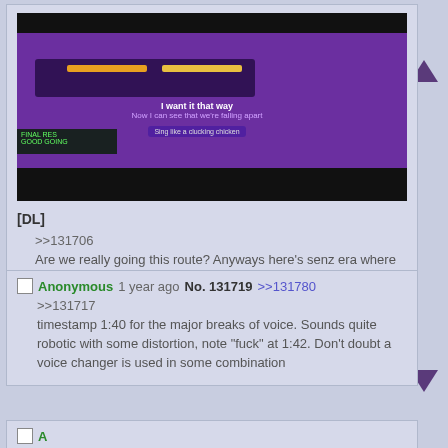[Figure (screenshot): Screenshot of a karaoke video game showing a character singing on a purple stage with faces in the background. Song lyrics visible: 'I want it that way / Now I can see that we're falling apart'. Prompt text: 'Sing like a clucking chicken'. Score display visible at bottom left.]
[DL]
>>131706
Are we really going this route? Anyways here's senz era where she struggles to maintain the voice while singing
Anonymous 1 year ago No. 131719 >>131780
>>131717
timestamp 1:40 for the major breaks of voice. Sounds quite robotic with some distortion, note "fuck" at 1:42. Don't doubt a voice changer is used in some combination